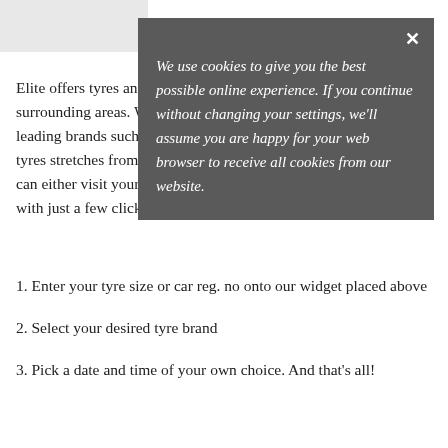Elite offers tyres and tyre fitting services in Brentwood and surrounding areas. We provide a wide collection of tyres from leading brands such as Michelin and Continental, etc. Our range of tyres stretches from budget tyres to 4x4 shop tyres at Elite, you can either visit your nearest Elite's centre or simply shop online with just a few clicks! All you have to do is:
[Figure (screenshot): Cookie consent overlay on dark gray background with italic text: 'We use cookies to give you the best possible online experience. If you continue without changing your settings, we'll assume you are happy for your web browser to receive all cookies from our website.' with a close (x) button in top right.]
1. Enter your tyre size or car reg. no onto our widget placed above
2. Select your desired tyre brand
3. Pick a date and time of your own choice. And that's all!